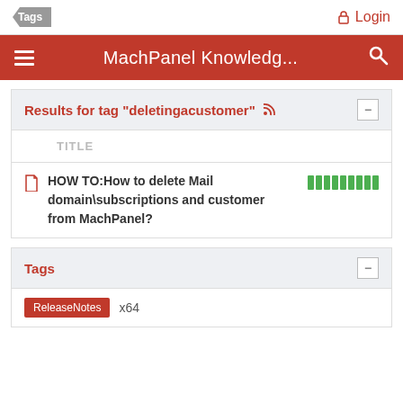Tags | Login
MachPanel Knowledg...
Results for tag "deletingacustomer"
| TITLE |  |
| --- | --- |
| HOW TO:How to delete Mail domain\subscriptions and customer from MachPanel? | ■■■■■■■■■ |
Tags
ReleaseNotes  x64